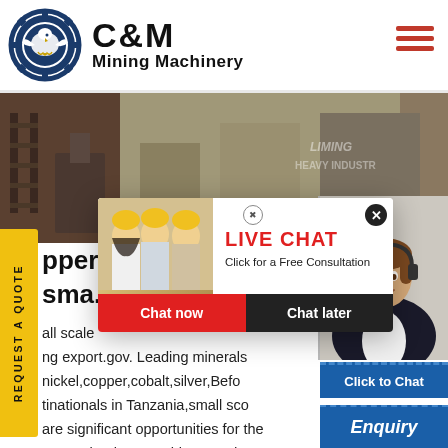[Figure (logo): C&M Mining Machinery logo with eagle in gear circle, dark blue]
[Figure (photo): Mining machinery background image with industrial equipment]
[Figure (screenshot): Live Chat popup with workers photo, Chat now / Chat later buttons]
pper c... sma...
all scale
ng export.gov. Leading minerals nickel,copper,cobalt,silver,Befo tinationals in Tanzania,small sco are significant opportunities for the U.S.technology,machinery,and.
[Figure (photo): Customer service agent with headset, Click to Chat blue button]
Enquiry